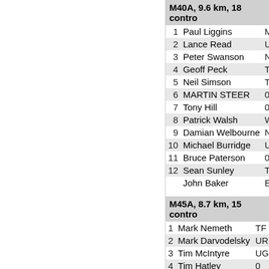M40A, 9.6 km, 18 contro
| # | Name | Club |
| --- | --- | --- |
| 1 | Paul Liggins | MR |
| 2 | Lance Read | UO |
| 3 | Peter Swanson | NZ |
| 4 | Geoff Peck | TR |
| 5 | Neil Simson | TR |
| 6 | MARTIN STEER | 0 |
| 7 | Tony Hill | 0 |
| 8 | Patrick Walsh | W |
| 9 | Damian Welbourne | NO |
| 10 | Michael Burridge | UO |
| 11 | Bruce Paterson | 0 |
| 12 | Sean Sunley | TK |
|  | John Baker | EN |
M45A, 8.7 km, 15 contro
| # | Name | Club |
| --- | --- | --- |
| 1 | Mark Nemeth | TF |
| 2 | Mark Darvodelsky | UR |
| 3 | Tim McIntyre | UG |
| 4 | Tim Hatley | 0 |
| 5 | Hamish Goodwin | HB |
| 6 | Russell Blatchford | 0 |
| 7 | Andre Scott | TR |